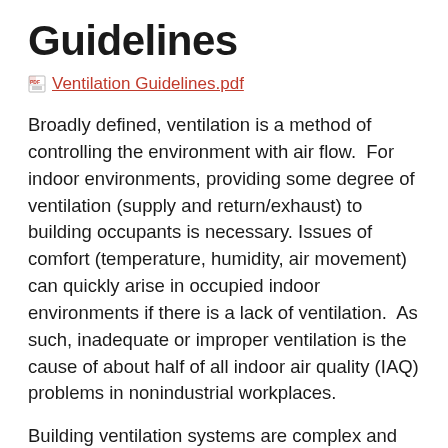Guidelines
Ventilation Guidelines.pdf
Broadly defined, ventilation is a method of controlling the environment with air flow.  For indoor environments, providing some degree of ventilation (supply and return/exhaust) to building occupants is necessary.  Issues of comfort (temperature, humidity, air movement) can quickly arise in occupied indoor environments if there is a lack of ventilation.  As such, inadequate or improper ventilation is the cause of about half of all indoor air quality (IAQ) problems in nonindustrial workplaces.
Building ventilation systems are complex and varied but typically involve drawing in fresh outdoor air through an air handling unit, where the air is filtered to remove